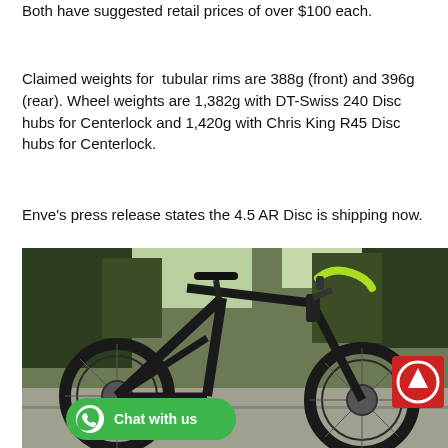Both have suggested retail prices of over $100 each.
Claimed weights for tubular rims are 388g (front) and 396g (rear). Wheel weights are 1,382g with DT-Swiss 240 Disc hubs for Centerlock and 1,420g with Chris King R45 Disc hubs for Centerlock.
Enve's press release states the 4.5 AR Disc is shipping now.
I received a set of 4.5 AR Disc clinchers built with King R45 hubs previous to this announcement, and was able to squeeze in a few rides. On my scale the wheelset weighed 1,550g, or less than the claimed weight.
[Figure (photo): A black road bicycle with disc brakes photographed outdoors on a road with trees in background. The bike has green/teal handlebar tape and ENVE branding. Overlaid UI elements include a green 'Chat with us' button (WhatsApp style) at bottom left and a red scroll-up button at bottom right.]